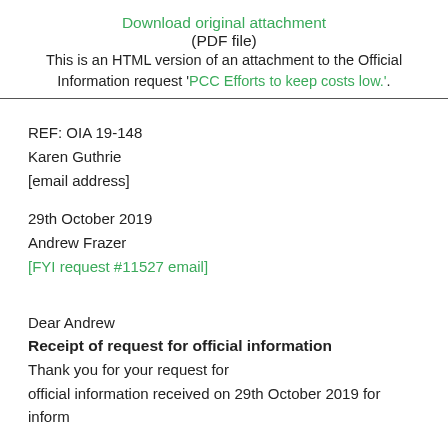Download original attachment
(PDF file)
This is an HTML version of an attachment to the Official Information request 'PCC Efforts to keep costs low.'.
REF: OIA 19-148
Karen Guthrie
[email address]
29th October 2019
Andrew Frazer
[FYI request #11527 email]
Dear Andrew
Receipt of request for official information
Thank you for your request for official information received on 29th October 2019 for inform...